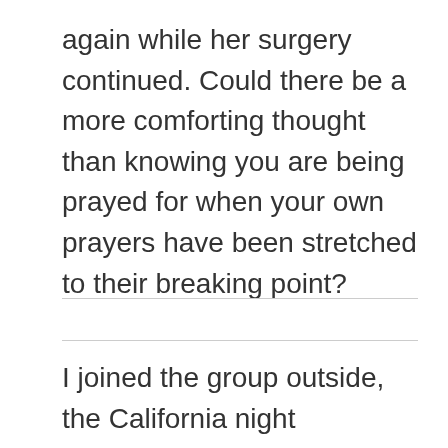again while her surgery continued. Could there be a more comforting thought than knowing you are being prayed for when your own prayers have been stretched to their breaking point?
I joined the group outside, the California night pleasantly cool, the tall evergreens silhouetted against the bright moon and stars. We were all praying—pleading